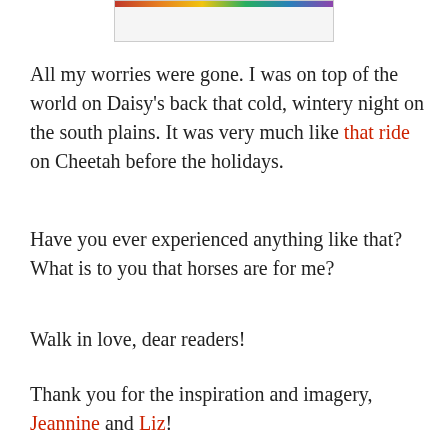[Figure (photo): Partial image at top of page, cropped, showing colorful strip at the top edge]
All my worries were gone. I was on top of the world on Daisy’s back that cold, wintery night on the south plains. It was very much like that ride on Cheetah before the holidays.
Have you ever experienced anything like that? What is to you that horses are for me?
Walk in love, dear readers!
Thank you for the inspiration and imagery, Jeannine and Liz!